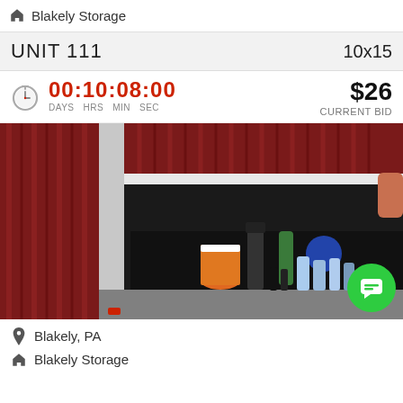Blakely Storage
UNIT 111   10x15
00:10:08:00  DAYS  HRS  MIN  SEC   $26  CURRENT BID
[Figure (photo): Storage unit partially open showing contents including a bucket, vacuum cleaner, bottles, jugs, and various items on the floor. Red corrugated metal door visible on exterior.]
Blakely, PA
Blakely Storage